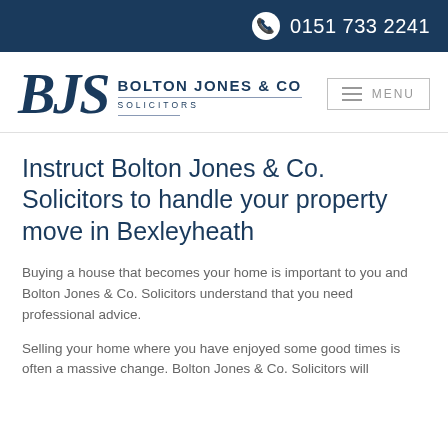0151 733 2241
[Figure (logo): Bolton Jones & Co Solicitors logo with BJS letters in navy italic serif and firm name to the right]
Instruct Bolton Jones & Co. Solicitors to handle your property move in Bexleyheath
Buying a house that becomes your home is important to you and Bolton Jones & Co. Solicitors understand that you need professional advice.
Selling your home where you have enjoyed some good times is often a massive change. Bolton Jones & Co. Solicitors will